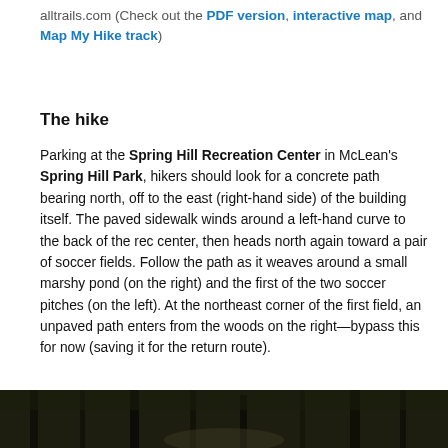alltrails.com (Check out the PDF version, interactive map, and Map My Hike track)
The hike
Parking at the Spring Hill Recreation Center in McLean's Spring Hill Park, hikers should look for a concrete path bearing north, off to the east (right-hand side) of the building itself. The paved sidewalk winds around a left-hand curve to the back of the rec center, then heads north again toward a pair of soccer fields. Follow the path as it weaves around a small marshy pond (on the right) and the first of the two soccer pitches (on the left). At the northeast corner of the first field, an unpaved path enters from the woods on the right—bypass this for now (saving it for the return route).
[Figure (photo): Photograph of a wooded trail or forest path, dark with tree trunks and foliage visible]